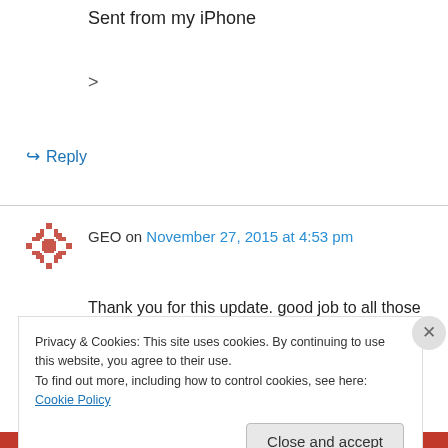Sent from my iPhone
>
↳ Reply
GEO on November 27, 2015 at 4:53 pm
Thank you for this update. good job to all those concerned. for your information, i am in chetumal and have been here 25 years helping friends with border problems on the belize side and on
Privacy & Cookies: This site uses cookies. By continuing to use this website, you agree to their use.
To find out more, including how to control cookies, see here: Cookie Policy
Close and accept